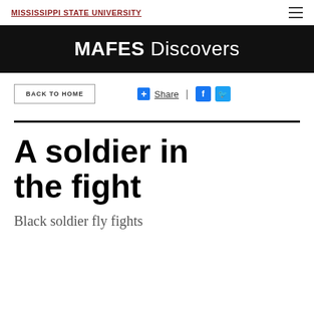MISSISSIPPI STATE UNIVERSITY
MAFES Discovers
BACK TO HOME
+ Share | F T
A soldier in the fight
Black soldier fly fights